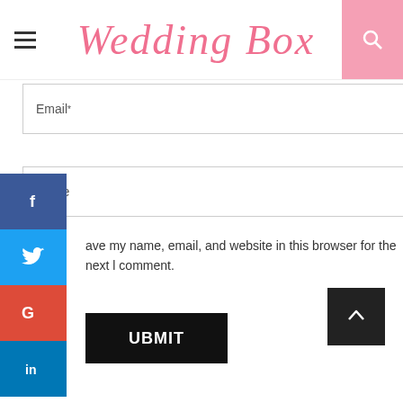Wedding Box
Email*
ebsite
ave my name, email, and website in this browser for the next l comment.
UBMIT
Enter keyword...
ABOUT ME
Beauty & Makeup Guru
Ut enim ad minima veniam, quis nostrum exercitationem ullam